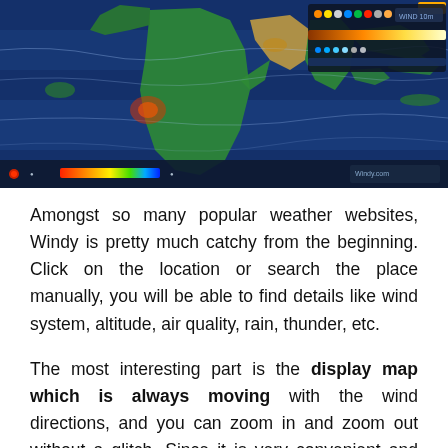[Figure (screenshot): Screenshot of the Windy weather website showing an interactive map of the world with wind/weather overlays. The map displays green landmasses (Africa, Asia, Europe) and blue ocean areas with animated wind flow patterns. A dark bottom bar contains a red location dot and a color legend bar. The right side shows a panel with colored dots and an orange gradient bar. A small orange indicator is in the top-right corner.]
Amongst so many popular weather websites, Windy is pretty much catchy from the beginning. Click on the location or search the place manually, you will be able to find details like wind system, altitude, air quality, rain, thunder, etc.
The most interesting part is the display map which is always moving with the wind directions, and you can zoom in and zoom out without a glitch. Since it is very convenient and easy to use, don't miss out on such an amazing weather website.